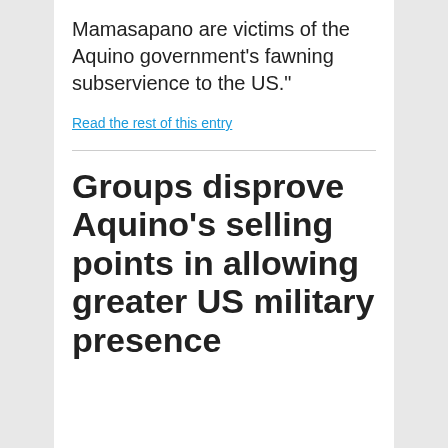Mamasapano are victims of the Aquino government’s fawning subservience to the US.”
Read the rest of this entry
Groups disprove Aquino’s selling points in allowing greater US military presence